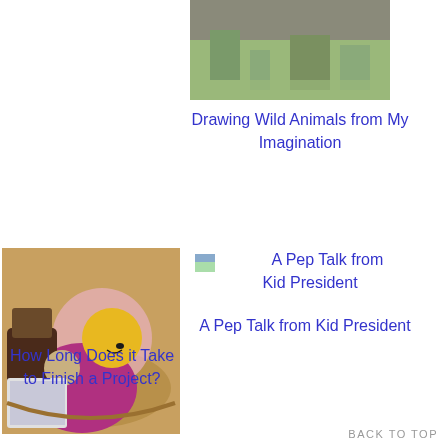[Figure (photo): Partial photo of outdoor grassy/rocky scene, cropped at top]
Drawing Wild Animals from My Imagination
[Figure (photo): Small image icon thumbnail]
A Pep Talk from Kid President
A Pep Talk from Kid President
[Figure (photo): Photo of crocheted items and craft supplies in a wooden bowl]
How Long Does it Take to Finish a Project?
BACK TO TOP